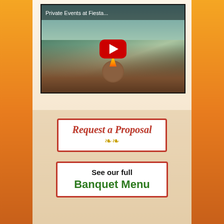[Figure (screenshot): YouTube video thumbnail showing 'Private Events at Fiesta...' with an outdoor event venue scene featuring a fire pit, chairs, and greenery. A red YouTube play button is centered on the thumbnail.]
[Figure (other): Button: 'Request a Proposal' in red italic script with golden decorative ornament, white background with red border]
[Figure (other): Button: 'See our full Banquet Menu' — 'See our full' in black bold, 'Banquet Menu' in green bold, white background with red border]